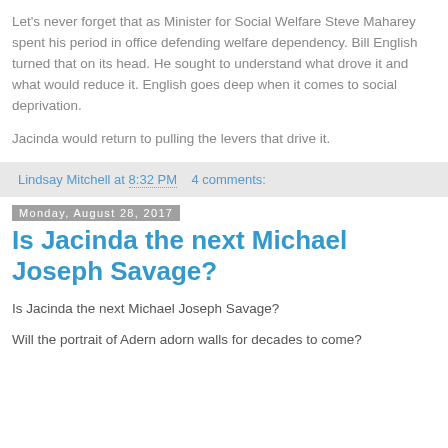Let's never forget that as Minister for Social Welfare Steve Maharey spent his period in office defending welfare dependency. Bill English turned that on its head. He sought to understand what drove it and what would reduce it. English goes deep when it comes to social deprivation.

Jacinda would return to pulling the levers that drive it.
Lindsay Mitchell at 8:32 PM   4 comments:
Monday, August 28, 2017
Is Jacinda the next Michael Joseph Savage?
Is Jacinda the next Michael Joseph Savage?
Will the portrait of Adern adorn walls for decades to come?